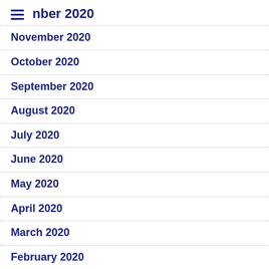nber 2020
November 2020
October 2020
September 2020
August 2020
July 2020
June 2020
May 2020
April 2020
March 2020
February 2020
January 2020